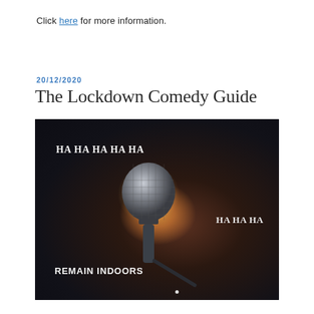Click here for more information.
20/12/2020
The Lockdown Comedy Guide
[Figure (photo): Dark photograph of a microphone on a stand against a dark background with a warm orange glow. Text overlaid reads 'HA HA HA HA HA' at top left, 'HA HA HA' at right middle, and 'REMAIN INDOORS' at bottom left.]